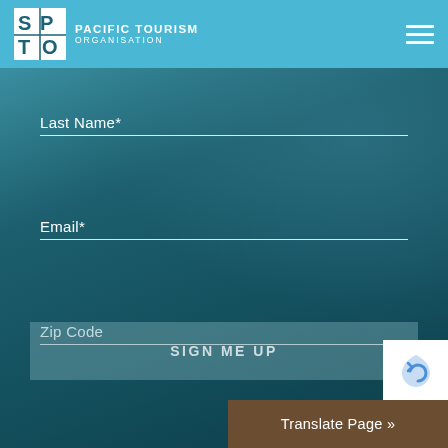PACIFIC TOURISM ORGANISATION
Last Name*
Email*
Zip Code
SIGN ME UP
Translate Page »